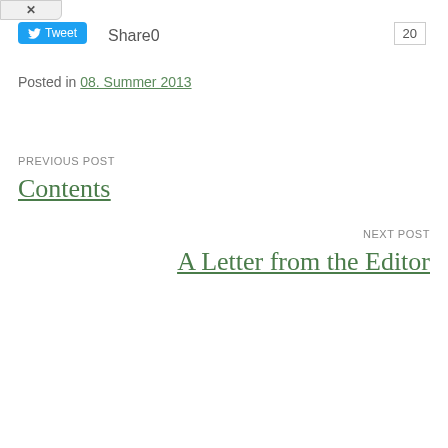[Figure (screenshot): Partial view of a close button (X) in a rounded rectangle at top left]
[Figure (screenshot): Twitter Tweet button in blue with bird icon]
Share0
20
Posted in 08. Summer 2013
PREVIOUS POST
Contents
NEXT POST
A Letter from the Editor